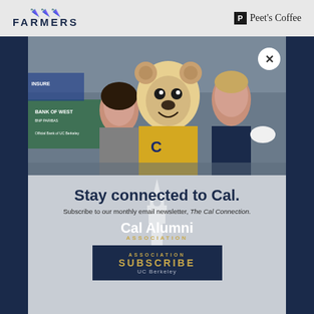[Figure (logo): Farmers Insurance logo with red umbrella icon and bold 'FARMERS' lettering]
[Figure (logo): Peet's Coffee logo with black square P icon and serif 'Peet's Coffee' text]
[Figure (photo): Photo of two students posing with Cal Oski the bear mascot in a yellow jersey at an outdoor event with Bank of the West banner visible]
Stay connected to Cal.
Subscribe to our monthly email newsletter, The Cal Connection.
[Figure (logo): Cal Alumni Association UC Berkeley logo with white text on dark blue background showing 'Cal Alumni', 'ASSOCIATION', 'SUBSCRIBE', 'UC Berkeley']
Cal Alumni Association
No, thank you.
1 Alumni House
Berkeley, CA 94720